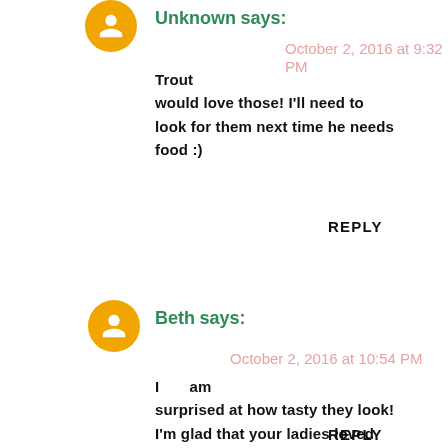Unknown says:
October 2, 2016 at 9:32 PM
Trout would love those! I'll need to look for them next time he needs food :)
REPLY
Beth says:
October 2, 2016 at 10:54 PM
I am surprised at how tasty they look! I'm glad that your ladies loved them!
REPLY